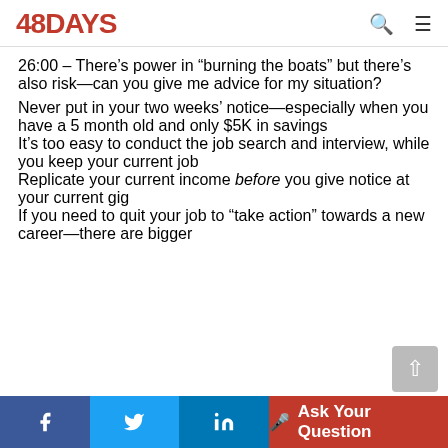48DAYS
26:00 – There's power in “burning the boats” but there’s also risk—can you give me advice for my situation?
Never put in your two weeks’ notice—especially when you have a 5 month old and only $5K in savings
It’s too easy to conduct the job search and interview, while you keep your current job
Replicate your current income before you give notice at your current gig
If you need to quit your job to “take action” towards a new career—there are bigger
Share on Facebook | Share on Twitter | Share on LinkedIn | Ask Your Question